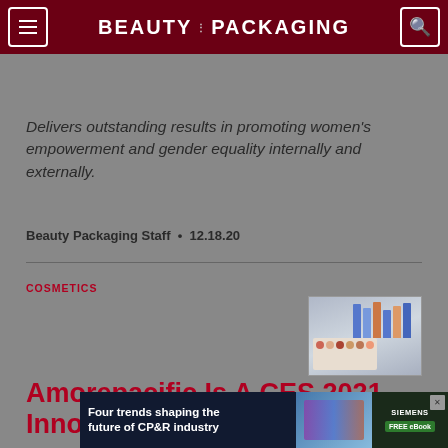BEAUTY PACKAGING
Delivers outstanding results in promoting women's empowerment and gender equality internally and externally.
Beauty Packaging Staff  •  12.18.20
COSMETICS
[Figure (photo): Cosmetic products including bottles and a makeup palette]
Amorepacific Is A CES 2021 Innovation Award Honoree
[Figure (infographic): Advertisement banner: Four trends shaping the future of CP&R industry — Siemens FREE eBook]